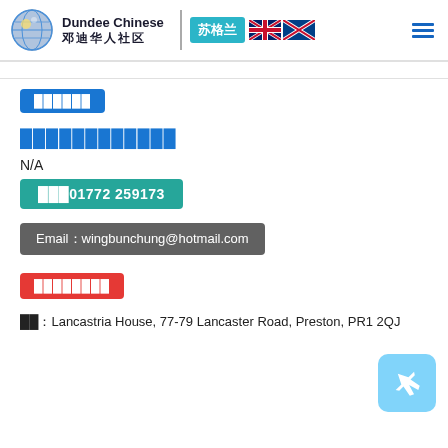Dundee Chinese 邓迪华人社区 | 苏格兰
██████
████████████
N/A
███01772 259173
Email：wingbunchung@hotmail.com
████████
██：Lancastria House, 77-79 Lancaster Road, Preston, PR1 2QJ